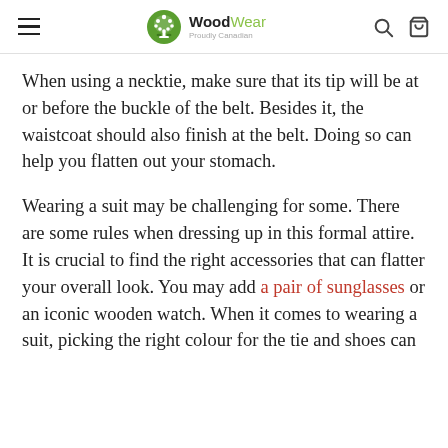WoodWear — Proudly Canadian (navigation header)
When using a necktie, make sure that its tip will be at or before the buckle of the belt. Besides it, the waistcoat should also finish at the belt. Doing so can help you flatten out your stomach.
Wearing a suit may be challenging for some. There are some rules when dressing up in this formal attire. It is crucial to find the right accessories that can flatter your overall look. You may add a pair of sunglasses or an iconic wooden watch. When it comes to wearing a suit, picking the right colour for the tie and shoes can